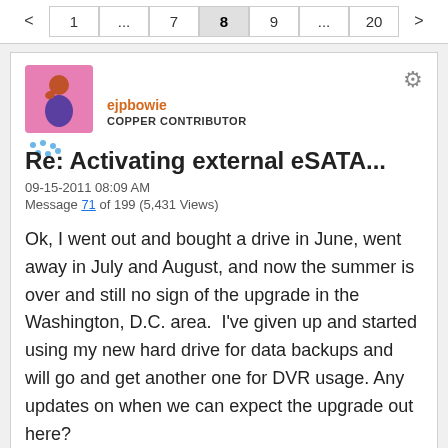< 1 ... 7 8 9 ... 20 >
ejpbowie
COPPER CONTRIBUTOR
Re: Activating external eSATA...
09-15-2011 08:09 AM
Message 71 of 199 (5,431 Views)
Ok, I went out and bought a drive in June, went away in July and August, and now the summer is over and still no sign of the upgrade in the Washington, D.C. area.  I've given up and started using my new hard drive for data backups and will go and get another one for DVR usage.  Any updates on when we can expect the upgrade out here?
0 Kudos